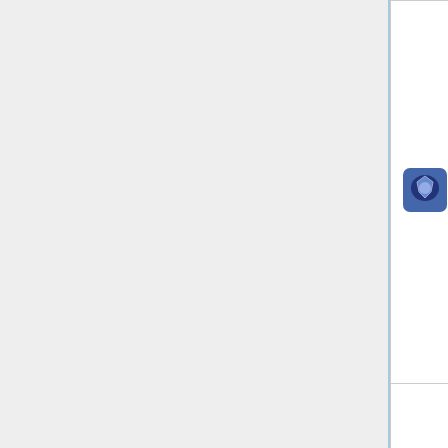| Icon | Name | Japanese | Stars | Description |
| --- | --- | --- | --- | --- |
| [icon] | Give Me a Hug | □□□□♪ | ★★☆ | Ramp Nihili... total ... times... Aqou... High!... ques... |
| [icon] | Riko Beam! | □□□□□□□□□ | ★★★ | Defe... Nihili... Ramp... Nihili... total ... times... Aqou... High!... ques... |
| [icon] | We Want to | □□□□□□□□□□ | ★ | Defe... Nihili... (Nigh... in Aq... |